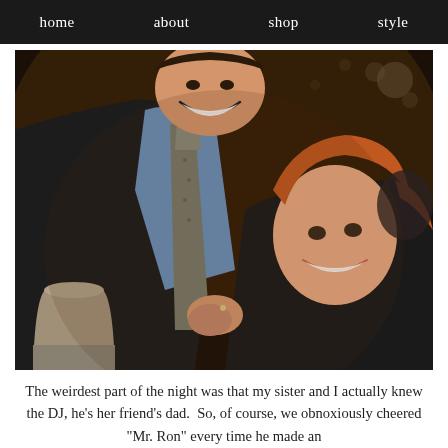home  about  shop  style
[Figure (photo): A smiling couple at what appears to be an evening event or party. A man in a blue dress shirt and gray tie is laughing, while a red-haired woman in a black top smiles at the camera, her hands clasped together holding his tie. There is a ceramic pot/bucket in the lower left and bokeh lights in the background.]
The weirdest part of the night was that my sister and I actually knew the DJ, he's her friend's dad.  So, of course, we obnoxiously cheered "Mr. Ron" every time he made an